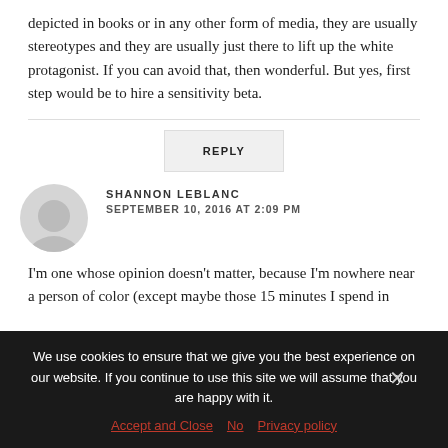depicted in books or in any other form of media, they are usually stereotypes and they are usually just there to lift up the white protagonist. If you can avoid that, then wonderful. But yes, first step would be to hire a sensitivity beta.
REPLY
SHANNON LEBLANC
SEPTEMBER 10, 2016 AT 2:09 PM
I'm one whose opinion doesn't matter, because I'm nowhere near a person of color (except maybe those 15 minutes I spend in
We use cookies to ensure that we give you the best experience on our website. If you continue to use this site we will assume that you are happy with it.
Accept and Close    No    Privacy policy